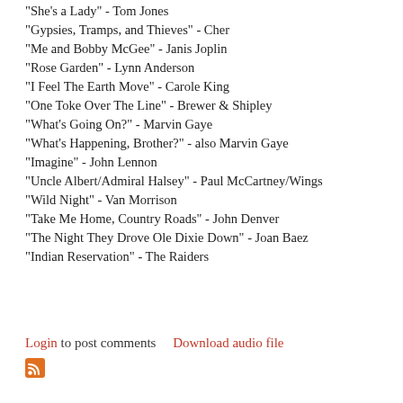"She's a Lady" - Tom Jones
"Gypsies, Tramps, and Thieves" - Cher
"Me and Bobby McGee" - Janis Joplin
"Rose Garden" - Lynn Anderson
"I Feel The Earth Move" - Carole King
"One Toke Over The Line" - Brewer & Shipley
"What's Going On?" - Marvin Gaye
"What's Happening, Brother?" - also Marvin Gaye
"Imagine" - John Lennon
"Uncle Albert/Admiral Halsey" - Paul McCartney/Wings
"Wild Night" - Van Morrison
"Take Me Home, Country Roads" - John Denver
"The Night They Drove Ole Dixie Down" - Joan Baez
"Indian Reservation" - The Raiders
Login to post comments   Download audio file
[Figure (other): RSS feed icon (orange square with white radio waves)]